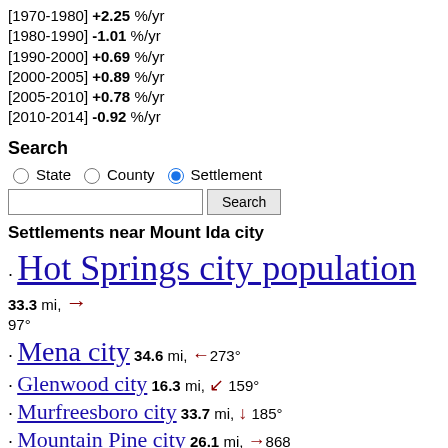[1970-1980] +2.25 %/yr
[1980-1990] -1.01 %/yr
[1990-2000] +0.69 %/yr
[2000-2005] +0.89 %/yr
[2005-2010] +0.78 %/yr
[2010-2014] -0.92 %/yr
Search
State  County  Settlement (radio buttons + search box)
Settlements near Mount Ida city
Hot Springs city population  33.3 mi, → 97°
Mena city  34.6 mi, ←273°
Glenwood city  16.3 mi, ↙ 159°
Murfreesboro city  33.7 mi, ↓ 185°
Mountain Pine city  26.1 mi, →868